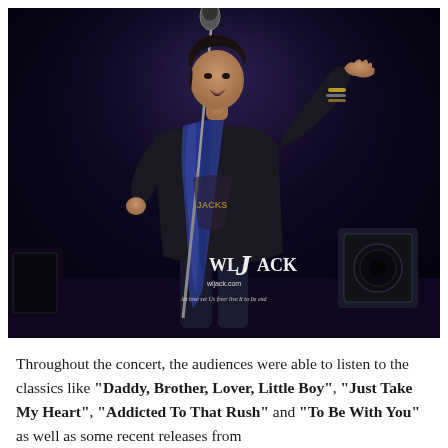[Figure (photo): Concert photo of a male singer performing on stage, holding a microphone stand, wearing a dark shirt and blue scarf/bandana, with bracelets on one wrist, performing against a dark background. A WLJack watermark is visible on the photo.]
Throughout the concert, the audiences were able to listen to the classics like "Daddy, Brother, Lover, Little Boy", "Just Take My Heart", "Addicted To That Rush" and "To Be With You" as well as some recent releases from